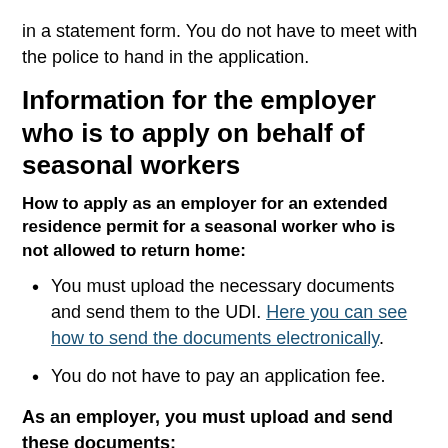in a statement form. You do not have to meet with the police to hand in the application.
Information for the employer who is to apply on behalf of seasonal workers
How to apply as an employer for an extended residence permit for a seasonal worker who is not allowed to return home:
You must upload the necessary documents and send them to the UDI. Here you can see how to send the documents electronically.
You do not have to pay an application fee.
As an employer, you must upload and send these documents: